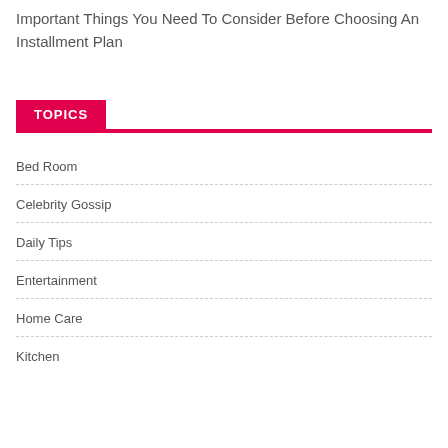Important Things You Need To Consider Before Choosing An Installment Plan
TOPICS
Bed Room
Celebrity Gossip
Daily Tips
Entertainment
Home Care
Kitchen